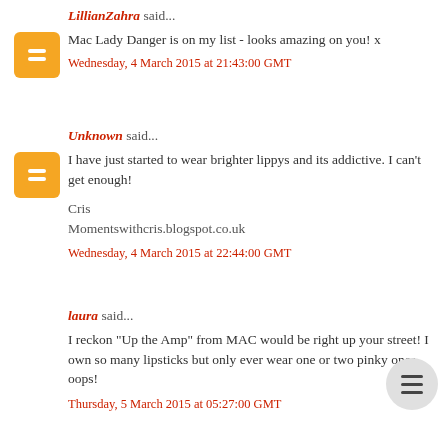LillianZahra said...
Mac Lady Danger is on my list - looks amazing on you! x
Wednesday, 4 March 2015 at 21:43:00 GMT
Unknown said...
I have just started to wear brighter lippys and its addictive. I can't get enough!

Cris
Momentswithcris.blogspot.co.uk
Wednesday, 4 March 2015 at 22:44:00 GMT
laura said...
I reckon "Up the Amp" from MAC would be right up your street! I own so many lipsticks but only ever wear one or two pinky ones, oops!
Thursday, 5 March 2015 at 05:27:00 GMT